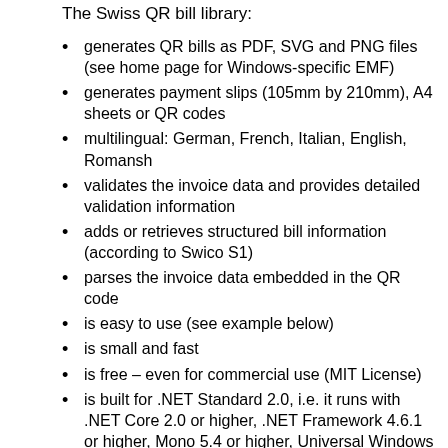The Swiss QR bill library:
generates QR bills as PDF, SVG and PNG files (see home page for Windows-specific EMF)
generates payment slips (105mm by 210mm), A4 sheets or QR codes
multilingual: German, French, Italian, English, Romansh
validates the invoice data and provides detailed validation information
adds or retrieves structured bill information (according to Swico S1)
parses the invoice data embedded in the QR code
is easy to use (see example below)
is small and fast
is free – even for commercial use (MIT License)
is built for .NET Standard 2.0, i.e. it runs with .NET Core 2.0 or higher, .NET Framework 4.6.1 or higher, Mono 5.4 or higher, Universal Windows Platform 10.0.16299 or higher, Xamarin etc.